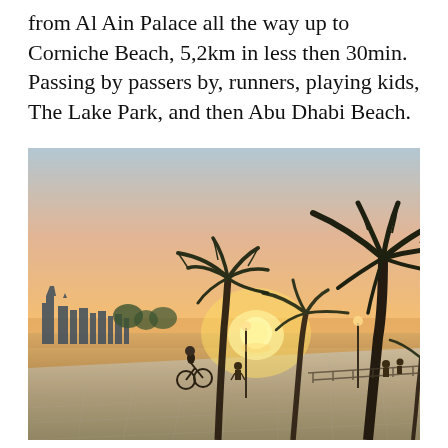from Al Ain Palace all the way up to Corniche Beach, 5,2km in less then 30min. Passing by passers by, runners, playing kids, The Lake Park, and then Abu Dhabi Beach.
[Figure (photo): Sunset photo of Abu Dhabi Corniche promenade with palm trees silhouetted against an orange sky, a cyclist and pedestrians on the wide tiled walkway, city skyline visible on the left, and the sea in the background.]